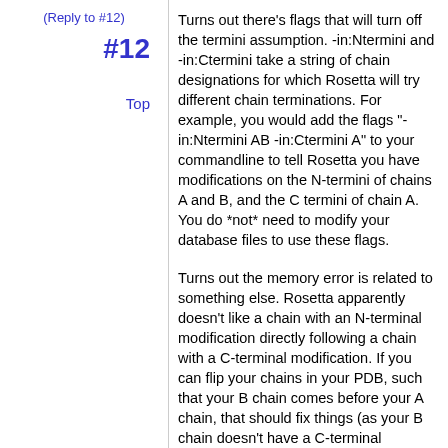(Reply to #12)
#12
Top
Turns out there's flags that will turn off the termini assumption. -in:Ntermini and -in:Ctermini take a string of chain designations for which Rosetta will try different chain terminations. For example, you would add the flags "-in:Ntermini AB -in:Ctermini A" to your commandline to tell Rosetta you have modifications on the N-termini of chains A and B, and the C termini of chain A. You do *not* need to modify your database files to use these flags.
Turns out the memory error is related to something else. Rosetta apparently doesn't like a chain with an N-terminal modification directly following a chain with a C-terminal modification. If you can flip your chains in your PDB, such that your B chain comes before your A chain, that should fix things (as your B chain doesn't have a C-terminal